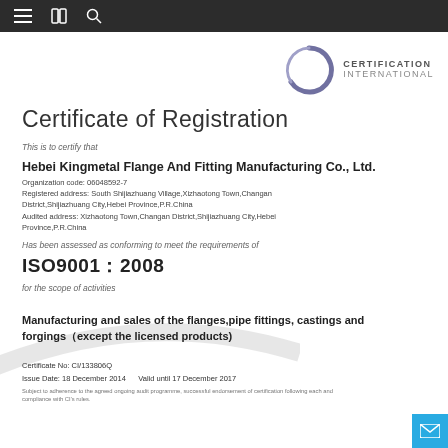Navigation bar with menu, book, and search icons
[Figure (logo): Certification International logo — a dark circle outline with a gap, colored purple/grey, with text CERTIFICATION INTERNATIONAL to the right]
Certificate of Registration
This is to certify that
Hebei Kingmetal Flange And Fitting Manufacturing Co., Ltd.
Organization code: 06048592-7
Registered address: South Shijiazhuang Village,Xizhaotong Town,Changan District,Shijiazhuang City,Hebei Province,P.R.China
Audited address: Xizhaotong Town,Changan District,Shijiazhuang City,Hebei Province,P.R.China
Has been assessed as conforming to meet the requirements of
ISO9001：2008
for the scope of activities
Manufacturing and sales of the flanges,pipe fittings, castings and forgings（except the licensed products)
Certificate No: CI/133806Q
Issue Date: 18 December 2014   Valid until 17 December 2017
Subject to adherence to the agreed ongoing audit programme, successful endorsement of certification following each and compliance with CI's rules.